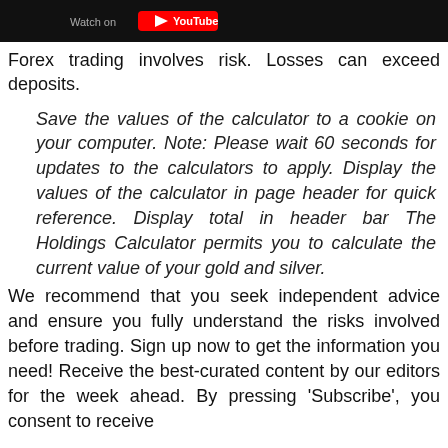[Figure (screenshot): Black banner with 'Watch on YouTube' button/logo area at the top of the page]
Forex trading involves risk. Losses can exceed deposits.
Save the values of the calculator to a cookie on your computer. Note: Please wait 60 seconds for updates to the calculators to apply. Display the values of the calculator in page header for quick reference. Display total in header bar The Holdings Calculator permits you to calculate the current value of your gold and silver.
We recommend that you seek independent advice and ensure you fully understand the risks involved before trading. Sign up now to get the information you need! Receive the best-curated content by our editors for the week ahead. By pressing 'Subscribe', you consent to receive